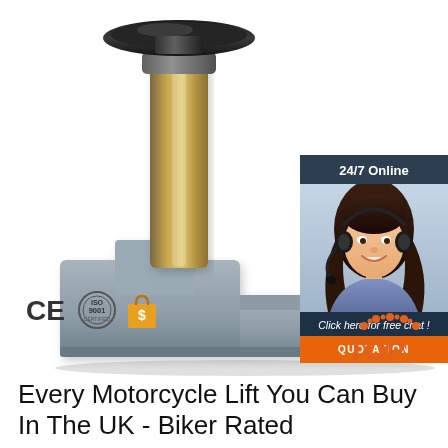[Figure (photo): A motorcycle lift jack component — gray cast metal base with a gold/silver cylindrical hydraulic post topped by a round black rubber pad. The part is photographed on a white background.]
[Figure (infographic): 24/7 Online customer chat widget with a photo of a smiling woman wearing a headset, text 'Click here for free chat!' and an orange QUOTATION button.]
[Figure (logo): CE mark, ISO 9001 certification seal, and an orange dollar-sign badge — three certification/trust logos in a row.]
[Figure (logo): TOP logo — orange dotted arc above the word TOP in bold orange letters.]
Every Motorcycle Lift You Can Buy In The UK - Biker Rated